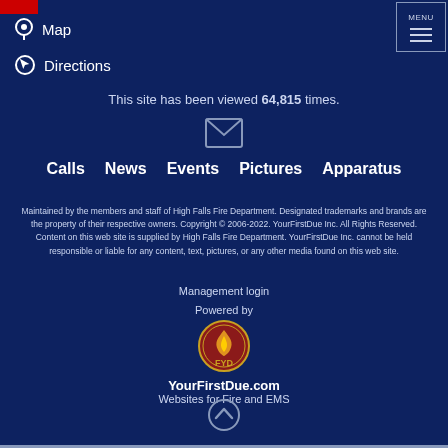[Figure (logo): Red badge/logo at top left]
[Figure (other): MENU button with three horizontal lines at top right]
Map
Directions
This site has been viewed 64,815 times.
[Figure (illustration): Envelope/email icon]
Calls
News
Events
Pictures
Apparatus
Maintained by the members and staff of High Falls Fire Department. Designated trademarks and brands are the property of their respective owners. Copyright © 2006-2022. YourFirstDue Inc. All Rights Reserved. Content on this web site is supplied by High Falls Fire Department. YourFirstDue Inc. cannot be held responsible or liable for any content, text, pictures, or any other media found on this web site.
Management login
Powered by
[Figure (logo): YourFirstDue circular logo with FYD letters and flame design]
YourFirstDue.com
Websites for Fire and EMS